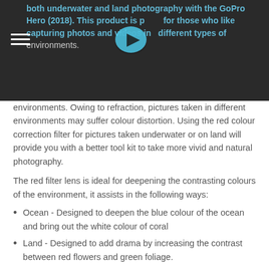both underwater and land photography with the GoPro Hero (2018). This product is perfect for those who like capturing photos and videos in different types of environments.
environments. Owing to refraction, pictures taken in different environments may suffer colour distortion. Using the red colour correction filter for pictures taken underwater or on land will provide you with a better tool kit to take more vivid and natural photography.
The red filter lens is ideal for deepening the contrasting colours of the environment, it assists in the following ways:
Ocean - Designed to deepen the blue colour of the ocean and bring out the white colour of coral
Land - Designed to add drama by increasing the contrast between red flowers and green foliage.
Product Specifications:
Compatible with: GoPro Hero (2018) with the